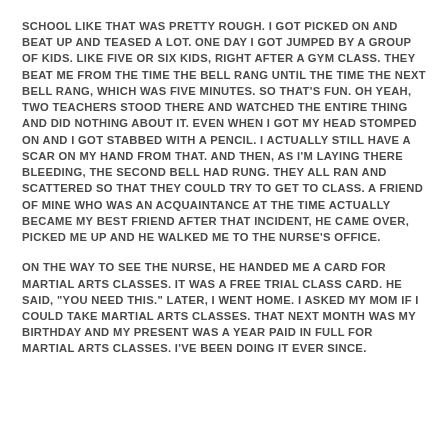SCHOOL LIKE THAT WAS PRETTY ROUGH. I GOT PICKED ON AND BEAT UP AND TEASED A LOT. ONE DAY I GOT JUMPED BY A GROUP OF KIDS. LIKE FIVE OR SIX KIDS, RIGHT AFTER A GYM CLASS. THEY BEAT ME FROM THE TIME THE BELL RANG UNTIL THE TIME THE NEXT BELL RANG, WHICH WAS FIVE MINUTES. SO THAT'S FUN. OH YEAH, TWO TEACHERS STOOD THERE AND WATCHED THE ENTIRE THING AND DID NOTHING ABOUT IT. EVEN WHEN I GOT MY HEAD STOMPED ON AND I GOT STABBED WITH A PENCIL. I ACTUALLY STILL HAVE A SCAR ON MY HAND FROM THAT. AND THEN, AS I'M LAYING THERE BLEEDING, THE SECOND BELL HAD RUNG. THEY ALL RAN AND SCATTERED SO THAT THEY COULD TRY TO GET TO CLASS. A FRIEND OF MINE WHO WAS AN ACQUAINTANCE AT THE TIME ACTUALLY BECAME MY BEST FRIEND AFTER THAT INCIDENT, HE CAME OVER, PICKED ME UP AND HE WALKED ME TO THE NURSE'S OFFICE.
ON THE WAY TO SEE THE NURSE, HE HANDED ME A CARD FOR MARTIAL ARTS CLASSES. IT WAS A FREE TRIAL CLASS CARD. HE SAID, "YOU NEED THIS." LATER, I WENT HOME. I ASKED MY MOM IF I COULD TAKE MARTIAL ARTS CLASSES. THAT NEXT MONTH WAS MY BIRTHDAY AND MY PRESENT WAS A YEAR PAID IN FULL FOR MARTIAL ARTS CLASSES. I'VE BEEN DOING IT EVER SINCE.